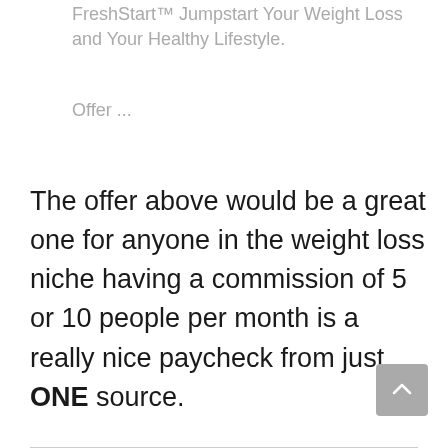FreshStart™ Jumpstart Your Weight Loss and Your Healthy Lifestyle.
Offer ...
The offer above would be a great one for anyone in the weight loss niche having a commission of 5 or 10 people per month is a really nice paycheck from just ONE source.